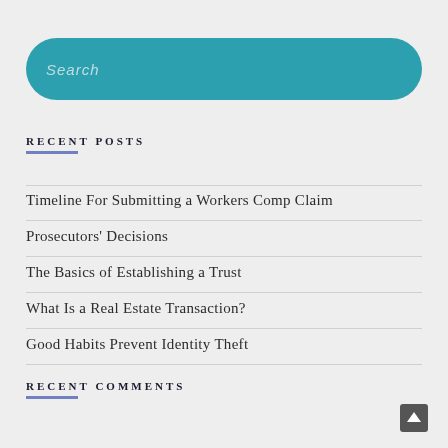[Figure (other): Teal/cyan rounded search bar with placeholder text 'Search']
Recent Posts
Timeline For Submitting a Workers Comp Claim
Prosecutors' Decisions
The Basics of Establishing a Trust
What Is a Real Estate Transaction?
Good Habits Prevent Identity Theft
Recent Comments